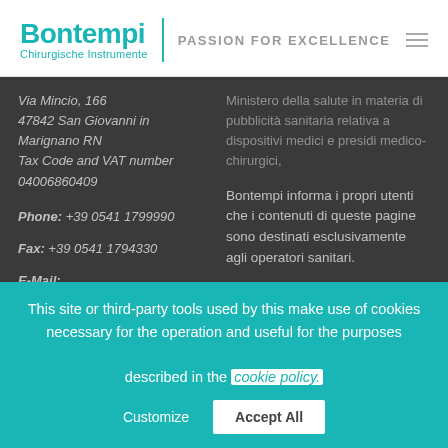[Figure (logo): Bontempi Chirurgische Instrumente logo with teal text and vertical divider, tagline PASSION FOR EXCELLENCE]
Via Mincio, 166
47842 San Giovanni in Marignano RN
Tax Code and VAT number 04006860409
Phone: +39 0541 1799990
Fax: +39 0541 1794330
E-Mail:
info@bontempimed.com
Web: bontempimed.com
Ministero della salute in materia di pubblicità sanitaria relativa a dispositivi medici e presidi medico-chirurgici,
Bontempi informa i propri utenti che i contenuti di queste pagine sono destinati esclusivamente agli operatori sanitari.
Ove presente, la descrizione
This site or third-party tools used by this make use of cookies necessary for the operation and useful for the purposes described in the cookie policy.
Customize
Accept All